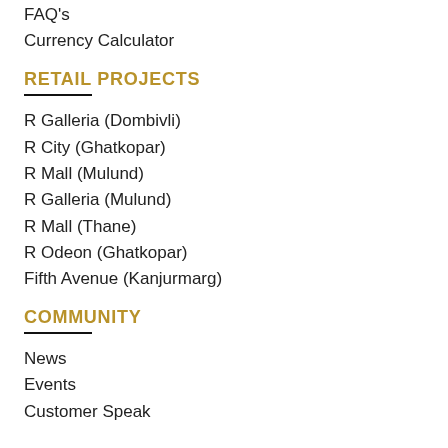FAQ's
Currency Calculator
RETAIL PROJECTS
R Galleria (Dombivli)
R City (Ghatkopar)
R Mall (Mulund)
R Galleria (Mulund)
R Mall (Thane)
R Odeon (Ghatkopar)
Fifth Avenue (Kanjurmarg)
COMMUNITY
News
Events
Customer Speak